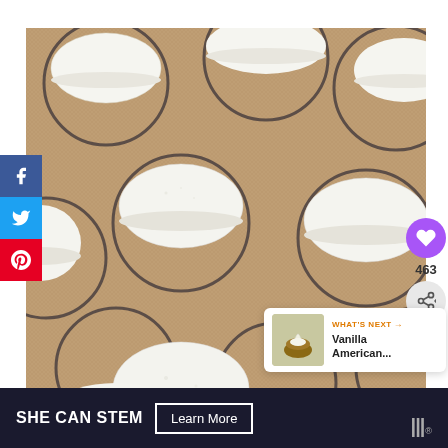[Figure (photo): Overhead close-up photo of white macaron shells resting on a silicone baking mat with circular guides, on a tan/brown textured surface. Multiple round white macarons are visible in a grid pattern.]
[Figure (infographic): Social sharing sidebar with Facebook (blue), Twitter (cyan), and Pinterest (red) buttons on the left edge of the image.]
[Figure (infographic): Heart/like button (purple circle with heart icon) showing 463 likes, and a share button below it, overlaid on the right side of the image.]
WHAT'S NEXT → Vanilla American...
SHE CAN STEM   Learn More